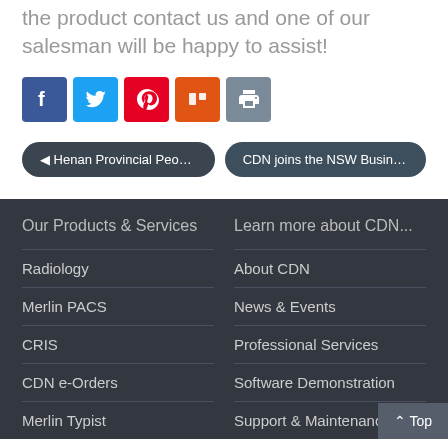the product contact us and one of our salesman will be happy to assist!
[Figure (other): Row of social media share icons: Facebook (blue), Twitter (light blue), Pinterest (red), Mix (orange), Print (grey)]
◄ Henan Provincial Peopl...
CDN joins the NSW Busine...
Our Products & Services
Learn more about CDN...
Radiology
About CDN
Merlin PACS
News & Events
CRIS
Professional Services
CDN e-Orders
Software Demonstration
Merlin Typist
Support & Maintenance